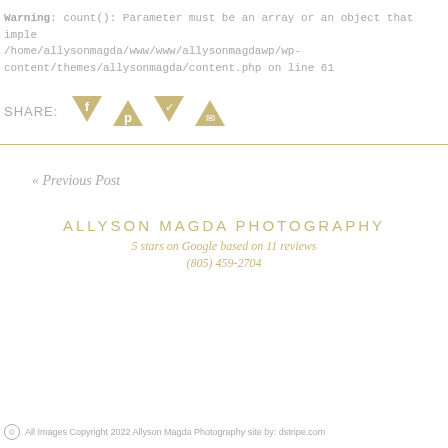Warning: count(): Parameter must be an array or an object that implements Countable in /home/allysonmagda/www/www/allysonmagdawp/wp-content/themes/allysonmagda/content.php on line 61
[Figure (infographic): SHARE: label followed by four gold/tan triangle-shaped social media icons for Facebook, Pinterest, Twitter, and Email]
« Previous Post
ALLYSON MAGDA PHOTOGRAPHY
5 stars on Google based on 11 reviews
(805) 459-2704
© All Images Copyright 2022 Allyson Magda Photography site by: dstripe.com